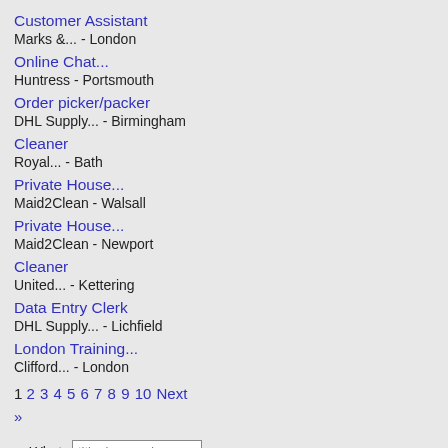Customer Assistant
Marks &... - London
Online Chat...
Huntress - Portsmouth
Order picker/packer
DHL Supply... - Birmingham
Cleaner
Royal... - Bath
Private House...
Maid2Clean - Walsall
Private House...
Maid2Clean - Newport
Cleaner
United... - Kettering
Data Entry Clerk
DHL Supply... - Lichfield
London Training...
Clifford... - London
1 2 3 4 5 6 7 8 9 10 Next »
What: title, keywords
Where: city or postcode
Find Jobs